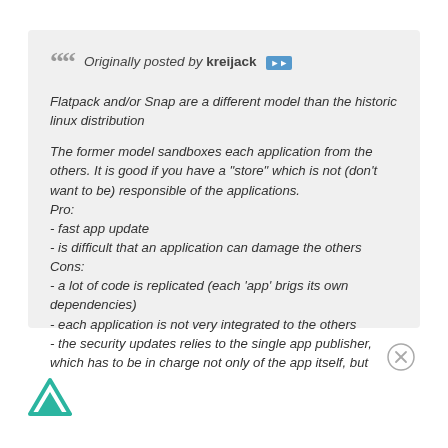Originally posted by kreijack ▶▶
Flatpack and/or Snap are a different model than the historic linux distribution

The former model sandboxes each application from the others. It is good if you have a "store" which is not (don't want to be) responsible of the applications.
Pro:
- fast app update
- is difficult that an application can damage the others
Cons:
- a lot of code is replicated (each 'app' brigs its own dependencies)
- each application is not very integrated to the others
- the security updates relies to the single app publisher, which has to be in charge not only of the app itself, but
[Figure (logo): Freenet/Lemmy triangle logo in teal/green color at bottom left]
[Figure (other): Close/dismiss button circle with X at bottom right]